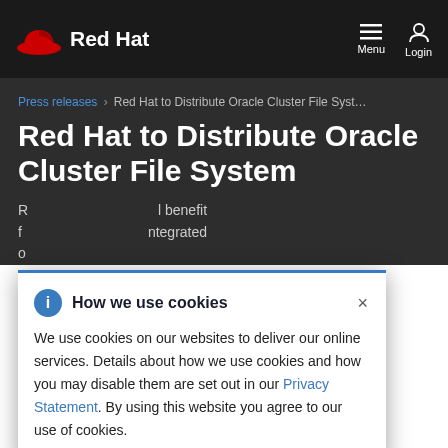Red Hat — Menu | Login
Press releases > Red Hat to Distribute Oracle Cluster File Syst...
Red Hat to Distribute Oracle Cluster File System
R... l benefit f... ntegrated o...
How we use cookies

We use cookies on our websites to deliver our online services. Details about how we use cookies and how you may disable them are set out in our Privacy Statement. By using this website you agree to our use of cookies.